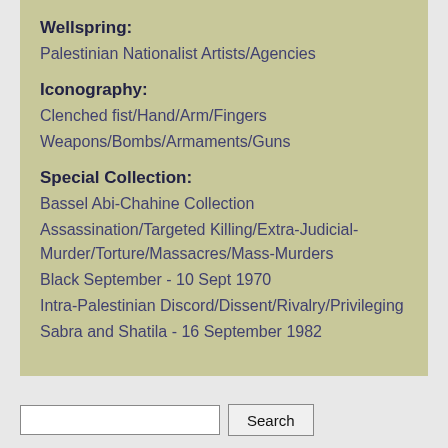Wellspring:
Palestinian Nationalist Artists/Agencies
Iconography:
Clenched fist/Hand/Arm/Fingers
Weapons/Bombs/Armaments/Guns
Special Collection:
Bassel Abi-Chahine Collection
Assassination/Targeted Killing/Extra-Judicial-Murder/Torture/Massacres/Mass-Murders
Black September - 10 Sept 1970
Intra-Palestinian Discord/Dissent/Rivalry/Privileging
Sabra and Shatila - 16 September 1982
New Posters and Collections